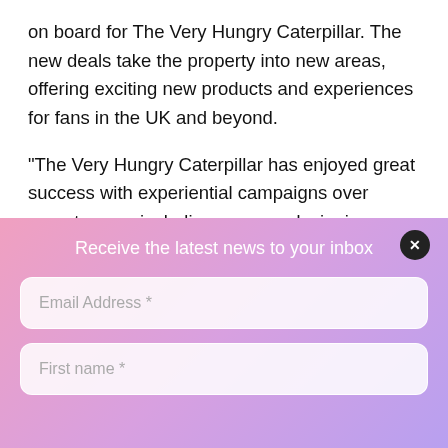on board for The Very Hungry Caterpillar. The new deals take the property into new areas, offering exciting new products and experiences for fans in the UK and beyond.
“The Very Hungry Caterpillar has enjoyed great success with experiential campaigns over recent years, including our award-winning partnership with the Royal Horticultural Society in 2019 and successful partnership with ZSL London Zoo earlier this summer, so we’re
Receive the latest news to your inbox
Email Address *
First name *